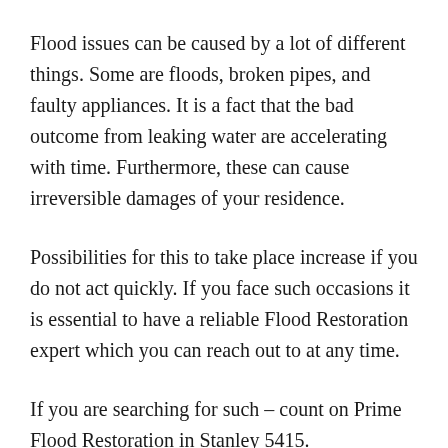Flood issues can be caused by a lot of different things. Some are floods, broken pipes, and faulty appliances. It is a fact that the bad outcome from leaking water are accelerating with time. Furthermore, these can cause irreversible damages of your residence.
Possibilities for this to take place increase if you do not act quickly. If you face such occasions it is essential to have a reliable Flood Restoration expert which you can reach out to at any time.
If you are searching for such – count on Prime Flood Restoration in Stanley 5415.